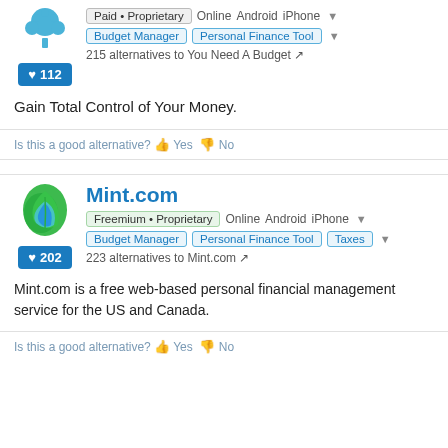[Figure (logo): You Need A Budget (YNAB) logo - blue tree/plant icon]
Paid • Proprietary   Online   Android   iPhone
Budget Manager   Personal Finance Tool
♥ 112
215 alternatives to You Need A Budget
Gain Total Control of Your Money.
Is this a good alternative? 👍 Yes 👎 No
[Figure (logo): Mint.com logo - green leaf icon]
Mint.com
Freemium • Proprietary   Online   Android   iPhone
Budget Manager   Personal Finance Tool   Taxes
♥ 202
223 alternatives to Mint.com
Mint.com is a free web-based personal financial management service for the US and Canada.
Is this a good alternative? 👍 Yes 👎 No